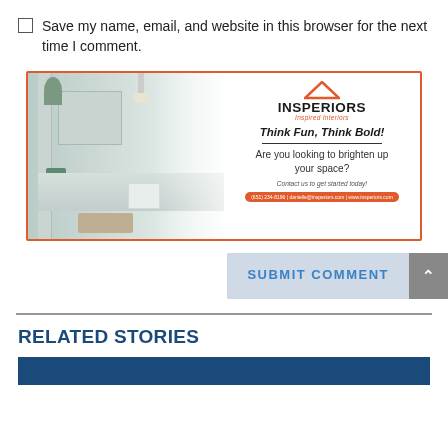Save my name, email, and website in this browser for the next time I comment.
[Figure (infographic): INSPERIORS - Inspired Interiors advertisement banner with bathroom photo on left and text on right: Think Fun, Think Bold! Are you looking to brighten up your space? Contact us to get started today! With phone number, email and website in orange footer bar.]
SUBMIT COMMENT
RELATED STORIES